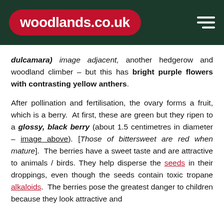woodlands.co.uk
dulcamara) image adjacent, another hedgerow and woodland climber – but this has bright purple flowers with contrasting yellow anthers.
After pollination and fertilisation, the ovary forms a fruit, which is a berry.  At first, these are green but they ripen to a glossy, black berry (about 1.5 centimetres in diameter – image above). [Those of bittersweet are red when mature].  The berries have a sweet taste and are attractive to animals / birds. They help disperse the seeds in their droppings, even though the seeds contain toxic tropane alkaloids.  The berries pose the greatest danger to children because they look attractive and